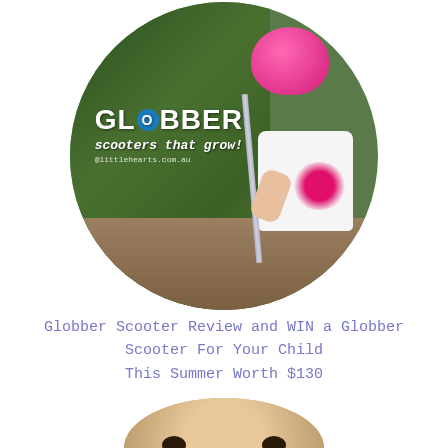[Figure (photo): Circular cropped photo of a young toddler wearing a pink helmet and white Globber t-shirt, riding a scooter outdoors on a gravel path with green foliage in the background. The Globber logo and tagline 'scooters that grow!' are overlaid on the left side of the image.]
Globber Scooter Review and WIN a Globber Scooter For Your Child This Summer Worth $130
[Figure (photo): Circular cropped photo (partially visible, bottom of page) showing the top portion of a young child's face with eyes looking upward and hands raised near the face.]